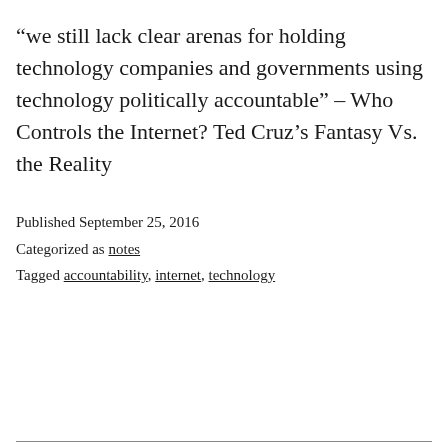“we still lack clear arenas for holding technology companies and governments using technology politically accountable” – Who Controls the Internet? Ted Cruz’s Fantasy Vs. the Reality
Published September 25, 2016
Categorized as notes
Tagged accountability, internet, technology